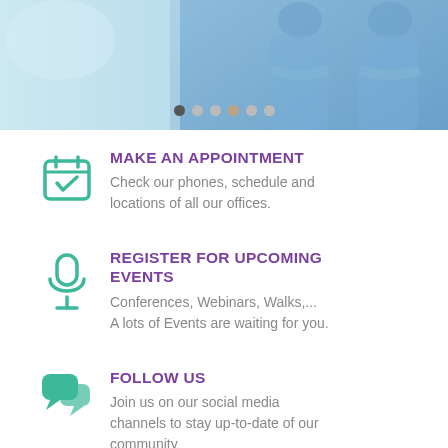[Figure (photo): Hero banner with medical professionals in blue scrubs, partially visible. Carousel navigation dots below the image.]
MAKE AN APPOINTMENT
Check our phones, schedule and locations of all our offices.
REGISTER FOR UPCOMING EVENTS
Conferences, Webinars, Walks,... A lots of Events are waiting for you.
FOLLOW US
Join us on our social media channels to stay up-to-date of our community